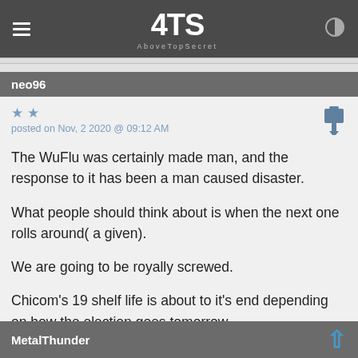4TS AboveTopSecret
neo96
posted on Nov, 2 2020 @ 09:12 AM
The WuFlu was certainly made man, and the response to it has been a man caused disaster.

What people should think about is when the next one rolls around( a given).

We are going to be royally screwed.

Chicom's 19 shelf life is about to it's end depending on how the election goes tomorrow.
MetalThunder